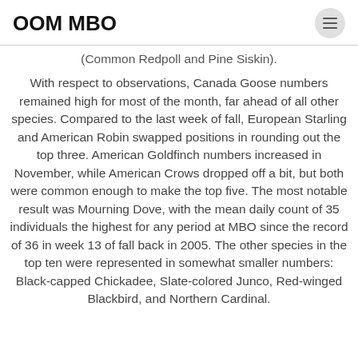OOM MBO
(Common Redpoll and Pine Siskin).
With respect to observations, Canada Goose numbers remained high for most of the month, far ahead of all other species. Compared to the last week of fall, European Starling and American Robin swapped positions in rounding out the top three. American Goldfinch numbers increased in November, while American Crows dropped off a bit, but both were common enough to make the top five. The most notable result was Mourning Dove, with the mean daily count of 35 individuals the highest for any period at MBO since the record of 36 in week 13 of fall back in 2005. The other species in the top ten were represented in somewhat smaller numbers: Black-capped Chickadee, Slate-colored Junco, Red-winged Blackbird, and Northern Cardinal.